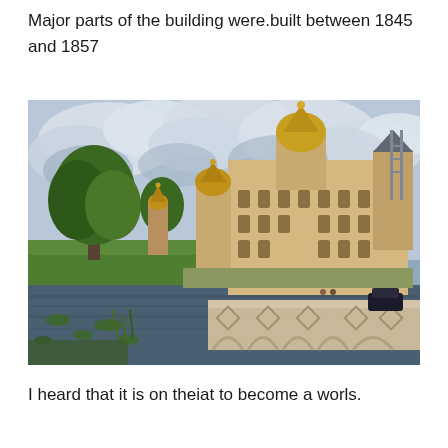Major parts of the building were.built between 1845 and 1857
[Figure (photo): Photograph of Schwerin Castle (Schweriner Schloss) in Germany, showing the ornate castle with golden domes, a stone bridge over a lake with lily pads, lush green trees on the left, and a cloudy sky above.]
I heard that it is on theiat to become a worls.